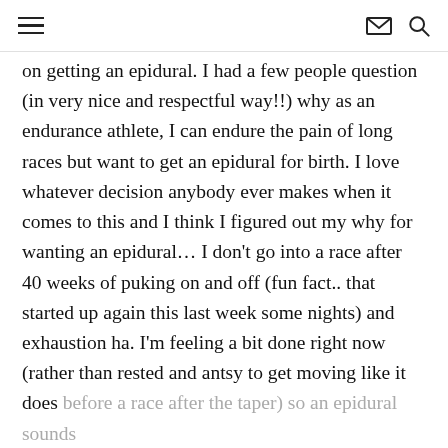[hamburger menu] [envelope icon] [search icon]
on getting an epidural.  I had a few people question (in very nice and respectful way!!) why as an endurance athlete, I can endure the pain of long races but want to get an epidural for birth.  I love whatever decision anybody ever makes when it comes to this and I think I figured out my why for wanting an epidural… I don't go into a race after 40 weeks of puking on and off (fun fact.. that started up again this last week some nights) and exhaustion ha.    I'm feeling a bit done right now (rather than rested and antsy to get moving like it does before a race after the taper) so an epidural sounds really nice.  I will continue to be beyond amazed by